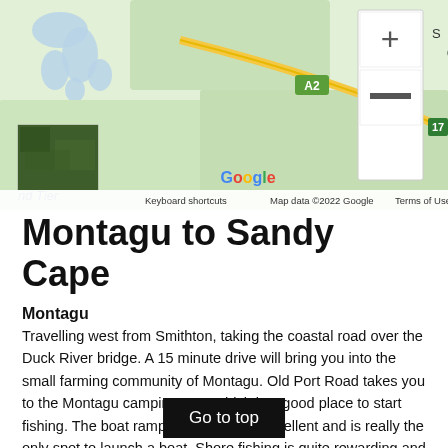[Figure (map): Google Maps screenshot showing Christmas Hills area with road A2, Google logo, map controls (+ and - zoom buttons), satellite thumbnail, keyboard shortcuts and map data attribution bar. Green terrain map with roads including a yellow road labeled A2. Text labels: Christmas Hills, nd Tier, Keyboard shortcuts, Map data ©2022 Google, Terms of Use.]
Montagu to Sandy Cape
Montagu
Travelling west from Smithton, taking the coastal road over the Duck River bridge. A 15 minute drive will bring you into the small farming community of Montagu. Old Port Road takes you to the Montagu camping area which is a good place to start fishing. The boat ramp at Montagu is excellent and is really the only spot to launch a boat. Shore fishing is quite rewarding and places to fish are the jetty (near ramp), off rocks and beaches all along the foreshore.
Montagu is a huge channel and successful fishing there can depend greatly on the tide. Some days the mix of tide and wind that rips through this channel, makes boating very interesting, and an enormous amount of care should be taken. Species that inhabit this spot are Australian salmon, pike, and tailer and flathead